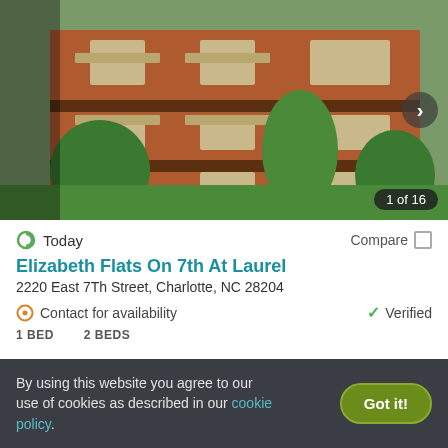[Figure (photo): Exterior photo of Elizabeth Flats On 7th At Laurel apartment building, a multi-story brick building with balconies and green trees surrounding it. Navigation arrow on right side. Counter '1 of 16' at bottom right.]
Today
Compare
Elizabeth Flats On 7th At Laurel
2220 East 7Th Street, Charlotte, NC 28204
Contact for availability
Verified
1 BED    2 BEDS
By using this website you agree to our use of cookies as described in our cookie policy.